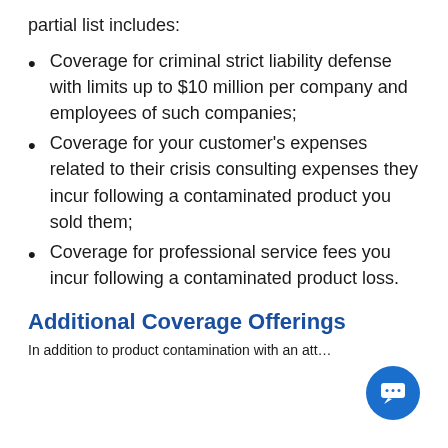partial list includes:
Coverage for criminal strict liability defense with limits up to $10 million per company and employees of such companies;
Coverage for your customer's expenses related to their crisis consulting expenses they incur following a contaminated product you sold them;
Coverage for professional service fees you incur following a contaminated product loss.
Additional Coverage Offerings
In addition to product contamination with an att...